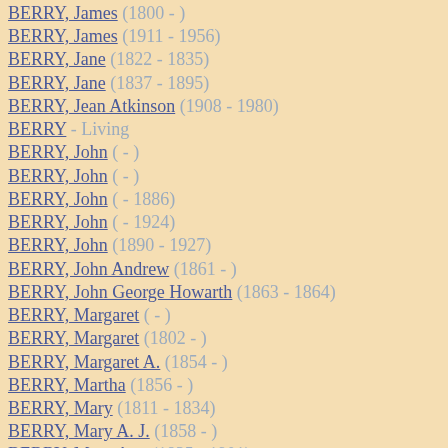BERRY, James (1800 - )
BERRY, James (1911 - 1956)
BERRY, Jane (1822 - 1835)
BERRY, Jane (1837 - 1895)
BERRY, Jean Atkinson (1908 - 1980)
BERRY - Living
BERRY, John ( - )
BERRY, John ( - )
BERRY, John ( - 1886)
BERRY, John ( - 1924)
BERRY, John (1890 - 1927)
BERRY, John Andrew (1861 - )
BERRY, John George Howarth (1863 - 1864)
BERRY, Margaret ( - )
BERRY, Margaret (1802 - )
BERRY, Margaret A. (1854 - )
BERRY, Martha (1856 - )
BERRY, Mary (1811 - 1834)
BERRY, Mary A. J. (1858 - )
BERRY, Mary Ann (1835 - 1901)
BERRY, Olive May (1882 - 1979)
BERRY, Oliver Edmund Benjamin (1871 - 1872)